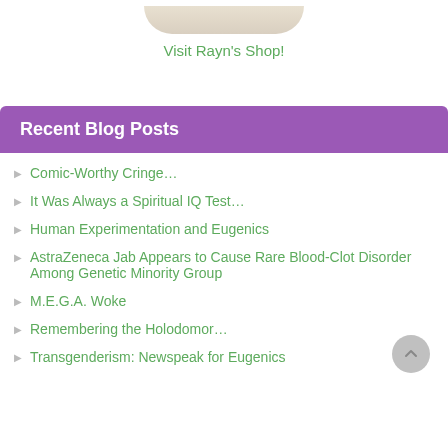[Figure (photo): Partial image of a product or animal at top of page, cropped]
Visit Rayn's Shop!
Recent Blog Posts
Comic-Worthy Cringe…
It Was Always a Spiritual IQ Test…
Human Experimentation and Eugenics
AstraZeneca Jab Appears to Cause Rare Blood-Clot Disorder Among Genetic Minority Group
M.E.G.A. Woke
Remembering the Holodomor…
Transgenderism: Newspeak for Eugenics